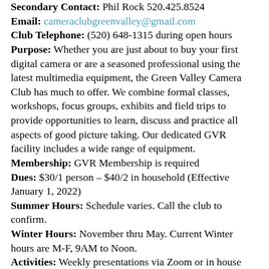Secondary Contact: Phil Rock 520.425.8524
Email: cameraclubgreenvalley@gmail.com
Club Telephone: (520) 648-1315 during open hours
Purpose: Whether you are just about to buy your first digital camera or are a seasoned professional using the latest multimedia equipment, the Green Valley Camera Club has much to offer. We combine formal classes, workshops, focus groups, exhibits and field trips to provide opportunities to learn, discuss and practice all aspects of good picture taking. Our dedicated GVR facility includes a wide range of equipment.
Membership: GVR Membership is required
Dues: $30/1 person – $40/2 in household (Effective January 1, 2022)
Summer Hours: Schedule varies. Call the club to confirm.
Winter Hours: November thru May. Current Winter hours are M-F, 9AM to Noon.
Activities: Weekly presentations via Zoom or in house